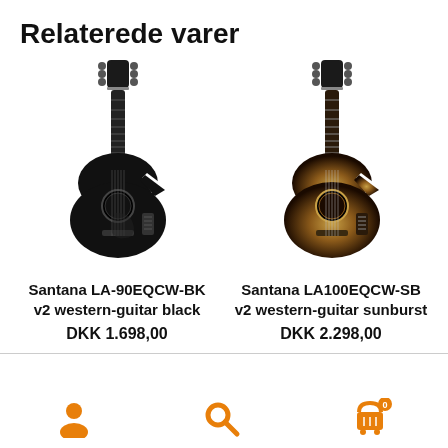Relaterede varer
[Figure (photo): Santana LA-90EQCW-BK v2 western-guitar black — a black acoustic-electric cutaway guitar]
Santana LA-90EQCW-BK v2 western-guitar black
DKK 1.698,00
[Figure (photo): Santana LA100EQCW-SB v2 western-guitar sunburst — a sunburst acoustic-electric cutaway guitar]
Santana LA100EQCW-SB v2 western-guitar sunburst
DKK 2.298,00